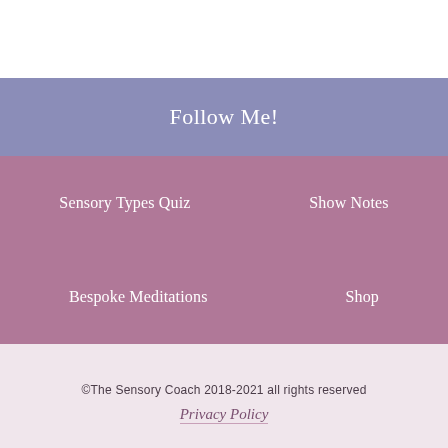Follow Me!
Sensory Types Quiz
Show Notes
Bespoke Meditations
Shop
©The Sensory Coach 2018-2021 all rights reserved
Privacy Policy
Cookie Policy · Privacy Policy · Terms and Conditions